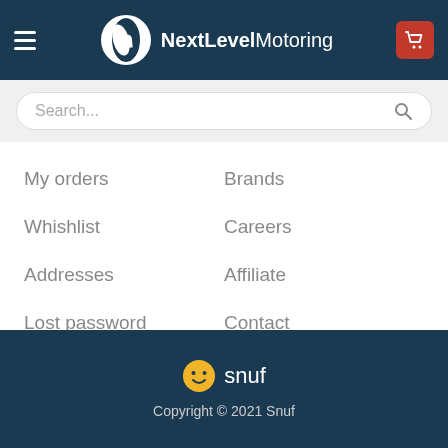NextLevelMotoring
Search...
My orders
Brands
Whishlist
Careers
Addresses
Affiliate
Lost password
Contact
snuf
Copyright © 2021 Snuf